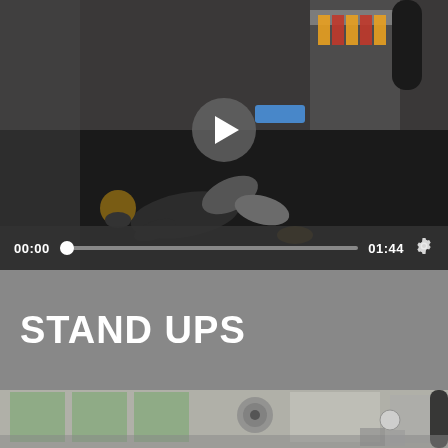[Figure (screenshot): Video player showing a man lying on a dark gym mat floor in a fighting gym with boxing equipment visible. A play button overlay is shown in the center. Video controls at the bottom show time 00:00 on the left and 01:44 on the right with a progress bar and settings gear icon.]
STAND UPS
[Figure (screenshot): Partial view of a second video showing a bright gym room with large windows, a fan, punching bags and gym equipment visible.]